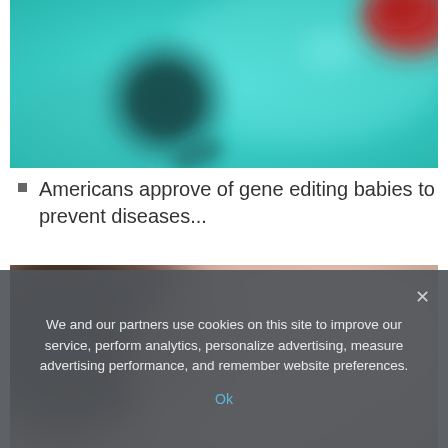[Figure (photo): Close-up of a teal/turquoise blurred background with a dark circular cell or virus-like structure in the center-left, and a red element in the top-right corner.]
Americans approve of gene editing babies to prevent diseases...
[Figure (photo): Close-up of a person's face, blurred, showing skin tones of brown and peach — forehead and eyebrow area visible.]
We and our partners use cookies on this site to improve our service, perform analytics, personalize advertising, measure advertising performance, and remember website preferences.
Ok